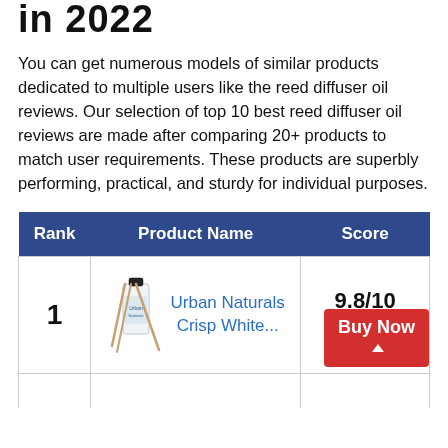in 2022
You can get numerous models of similar products dedicated to multiple users like the reed diffuser oil reviews. Our selection of top 10 best reed diffuser oil reviews are made after comparing 20+ products to match user requirements. These products are superbly performing, practical, and sturdy for individual purposes.
| Rank | Product Name | Score |
| --- | --- | --- |
| 1 | Urban Naturals Crisp White... | 9.8/10 |